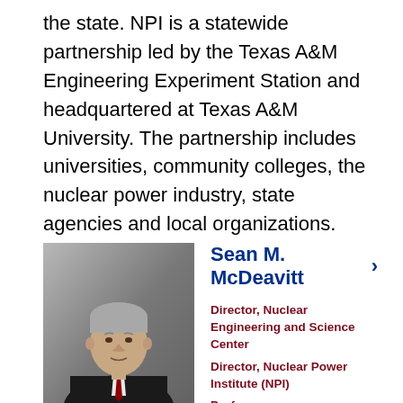the state. NPI is a statewide partnership led by the Texas A&M Engineering Experiment Station and headquartered at Texas A&M University. The partnership includes universities, community colleges, the nuclear power industry, state agencies and local organizations.
[Figure (photo): Professional headshot of Sean M. McDeavitt, a man in a dark suit with a red tie, gray hair, against a gray background.]
Sean M. McDeavitt ›
Director, Nuclear Engineering and Science Center
Director, Nuclear Power Institute (NPI)
Professor